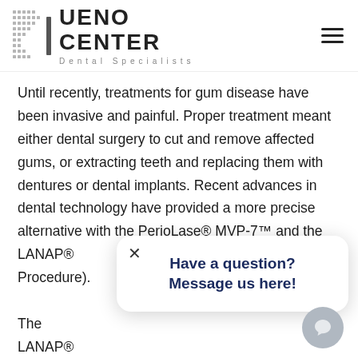UENO CENTER Dental Specialists
Until recently, treatments for gum disease have been invasive and painful. Proper treatment meant either dental surgery to cut and remove affected gums, or extracting teeth and replacing them with dentures or dental implants. Recent advances in dental technology have provided a more precise alternative with the PerioLase® MVP-7™ and the LANAP® ... Procedure). The LANAP® ... PerioLase® MVP-7™ laser to provide a less invasive, more acute treatment to gum disease. The protocol targets kills the bacteria that cause gum disease, removes damaged gum tissue, and reattaches healthy tissue back to
[Figure (other): Chat popup overlay with close button and message: Have a question? Message us here!]